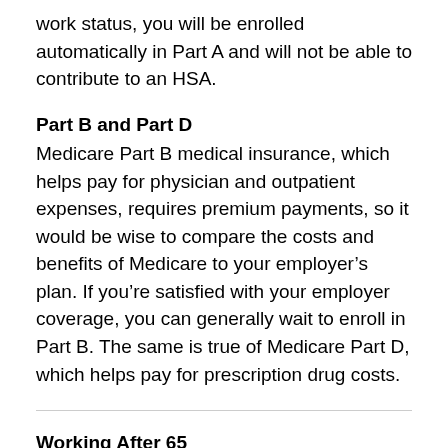work status, you will be enrolled automatically in Part A and will not be able to contribute to an HSA.
Part B and Part D
Medicare Part B medical insurance, which helps pay for physician and outpatient expenses, requires premium payments, so it would be wise to compare the costs and benefits of Medicare to your employer’s plan. If you’re satisfied with your employer coverage, you can generally wait to enroll in Part B. The same is true of Medicare Part D, which helps pay for prescription drug costs.
Working After 65
The percentage of working Americans age 65 and older decreased steadily after Medicare was signed into law in July 1965 and began to rise again in 1985, due to a variety of factors, including the decline of traditional pensions, more knowledge-based jobs, and longer lifespans. The percentage dropped sharply in